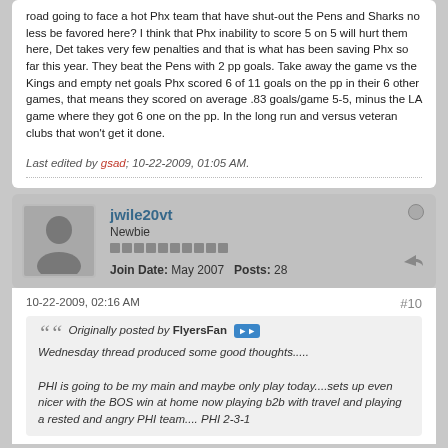road going to face a hot Phx team that have shut-out the Pens and Sharks no less be favored here? I think that Phx inability to score 5 on 5 will hurt them here, Det takes very few penalties and that is what has been saving Phx so far this year. They beat the Pens with 2 pp goals. Take away the game vs the Kings and empty net goals Phx scored 6 of 11 goals on the pp in their 6 other games, that means they scored on average .83 goals/game 5-5, minus the LA game where they got 6 one on the pp. In the long run and versus veteran clubs that won't get it done.
Last edited by gsad; 10-22-2009, 01:05 AM.
jwile20vt
Newbie
Join Date: May 2007   Posts: 28
10-22-2009, 02:16 AM
#10
Originally posted by FlyersFan
Wednesday thread produced some good thoughts.....
PHI is going to be my main and maybe only play today....sets up even nicer with the BOS win at home now playing b2b with travel and playing a rested and angry PHI team.... PHI 2-3-1